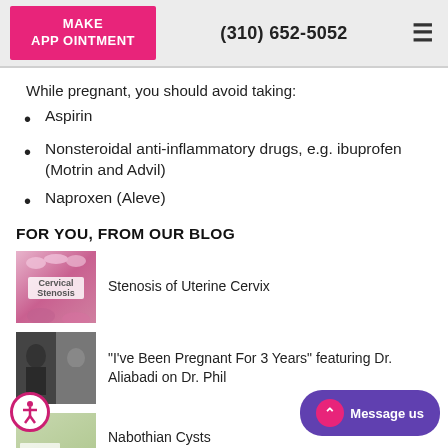MAKE APPOINTMENT | (310) 652-5052
While pregnant, you should avoid taking:
Aspirin
Nonsteroidal anti-inflammatory drugs, e.g. ibuprofen (Motrin and Advil)
Naproxen (Aleve)
FOR YOU, FROM OUR BLOG
[Figure (photo): Blog thumbnail for Cervical Stenosis article showing pink floral imagery with text 'Cervical Stenosis']
Stenosis of Uterine Cervix
[Figure (photo): Blog thumbnail showing two people on TV show Dr. Phil]
"I've Been Pregnant For 3 Years" featuring Dr. Aliabadi on Dr. Phil
[Figure (photo): Blog thumbnail for Nabothian Cysts article with cervix label]
Nabothian Cysts